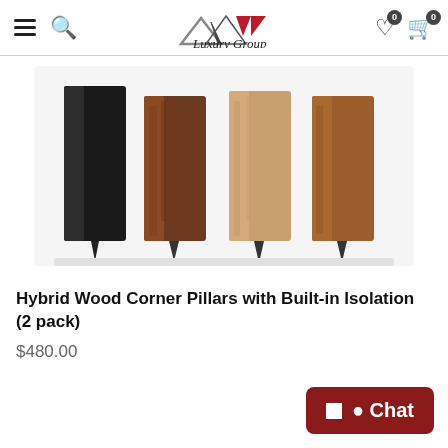Luxury Group — navigation header with hamburger menu, search, logo, wishlist (0), cart (0)
[Figure (photo): Four Hybrid Wood Corner Pillars with Built-in Isolation shown side by side: black, dark walnut, light oak, and medium walnut finishes, each with a spike base.]
Hybrid Wood Corner Pillars with Built-in Isolation (2 pack)
$480.00
Chat